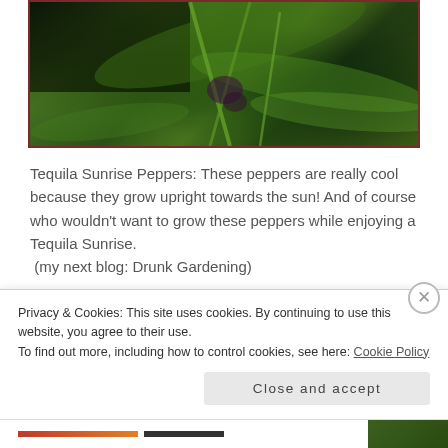[Figure (photo): Close-up photo of Tequila Sunrise pepper plant with green stems and leaves, dark background, showing plant stems and foliage detail]
Tequila Sunrise Peppers: These peppers are really cool because they grow upright towards the sun!  And of course who wouldn't want to grow these peppers while enjoying a Tequila Sunrise.  (my next blog: Drunk Gardening)
Privacy & Cookies: This site uses cookies. By continuing to use this website, you agree to their use.
To find out more, including how to control cookies, see here: Cookie Policy
Close and accept